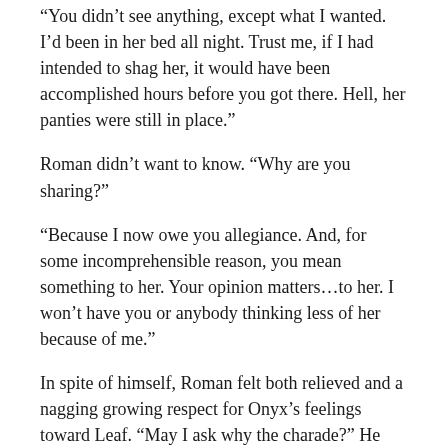“You didn’t see anything, except what I wanted. I’d been in her bed all night. Trust me, if I had intended to shag her, it would have been accomplished hours before you got there. Hell, her panties were still in place.”
Roman didn’t want to know. “Why are you sharing?”
“Because I now owe you allegiance. And, for some incomprehensible reason, you mean something to her. Your opinion matters…to her. I won’t have you or anybody thinking less of her because of me.”
In spite of himself, Roman felt both relieved and a nagging growing respect for Onyx’s feelings toward Leaf. “May I ask why the charade?” He pointed back down the hall.
“You know my father. Had I not completely